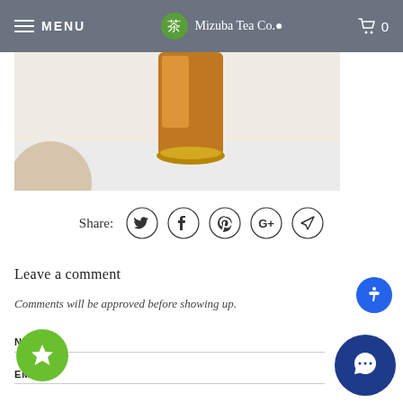MENU | Mizuba Tea Co. | 0
[Figure (photo): Product photo showing an amber/orange glass bottle or container with a gold ring base, and a partially visible glass on the left, on a light background.]
Share:
[Figure (infographic): Social sharing icons in circles: Twitter (bird), Facebook (f), Pinterest (p), Google+ (G+), and a send/paper-plane icon.]
Leave a comment
Comments will be approved before showing up.
NAME *
EMAIL *